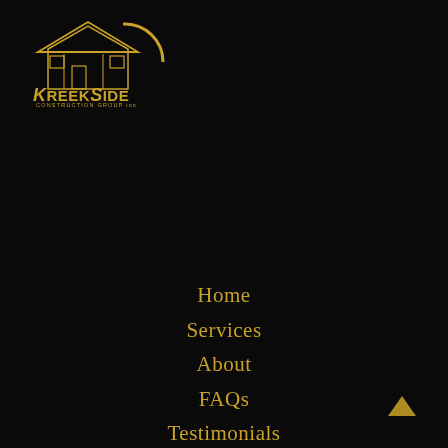[Figure (logo): Kreekside Construction Group Inc. logo — gold house/building outline with company name in gold lettering on black background]
Home
Services
About
FAQs
Testimonials
Contact